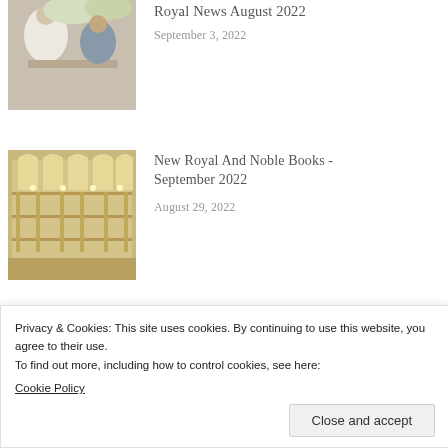[Figure (photo): Two people shaking hands at a table, one in white clothing]
Royal News August 2022
September 3, 2022
[Figure (photo): Ornate interior of a grand library or opera house with balconies]
New Royal And Noble Books - September 2022
August 29, 2022
[Figure (photo): Close-up of gloved hands holding or touching something, green foliage in background]
Collection: New Royal And Noble Books
Privacy & Cookies: This site uses cookies. By continuing to use this website, you agree to their use.
To find out more, including how to control cookies, see here:
Cookie Policy
Close and accept